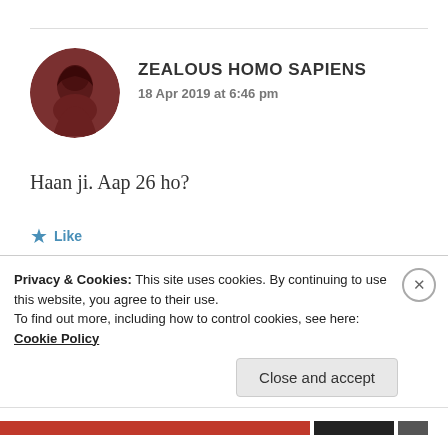ZEALOUS HOMO SAPIENS
18 Apr 2019 at 6:46 pm
Haan ji. Aap 26 ho?
Like
Privacy & Cookies: This site uses cookies. By continuing to use this website, you agree to their use.
To find out more, including how to control cookies, see here: Cookie Policy
Close and accept